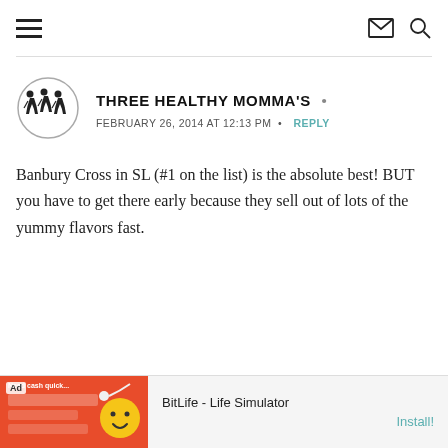Navigation bar with hamburger menu and mail/search icons
[Figure (logo): Three Healthy Momma's circular logo with silhouettes of three walking figures]
THREE HEALTHY MOMMA'S •
FEBRUARY 26, 2014 AT 12:13 PM • REPLY
Banbury Cross in SL (#1 on the list) is the absolute best! BUT you have to get there early because they sell out of lots of the yummy flavors fast.
[Figure (screenshot): Ad banner for BitLife - Life Simulator with red game screenshot and Install button]